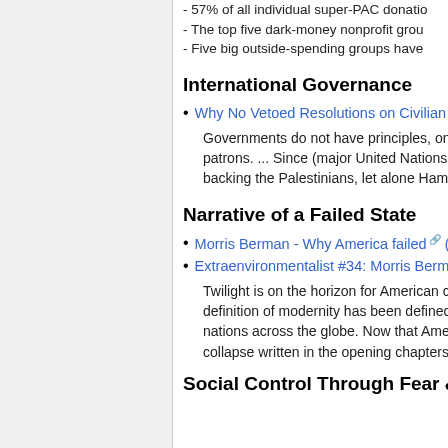- 57% of all individual super-PAC donatio…
- The top five dark-money nonprofit grou…
- Five big outside-spending groups have…
International Governance
Why No Vetoed Resolutions on Civilian P…
Governments do not have principles, onl… patrons. ... Since (major United Nations… backing the Palestinians, let alone Hama…
Narrative of a Failed State
Morris Berman - Why America failed (…
Extraenvironmentalist #34: Morris Berma…
Twilight is on the horizon for American c… definition of modernity has been defined… nations across the globe. Now that Ame… collapse written in the opening chapters'…
Social Control Through Fear & Hate…